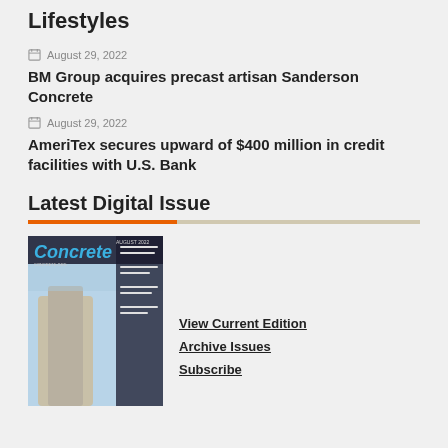Lifestyles
August 29, 2022
BM Group acquires precast artisan Sanderson Concrete
August 29, 2022
AmeriTex secures upward of $400 million in credit facilities with U.S. Bank
Latest Digital Issue
[Figure (photo): Cover of Concrete magazine, August 2022 issue, showing a large concrete silo structure against a sky background with the magazine title 'Concrete' in blue letters and a table of contents sidebar.]
View Current Edition
Archive Issues
Subscribe